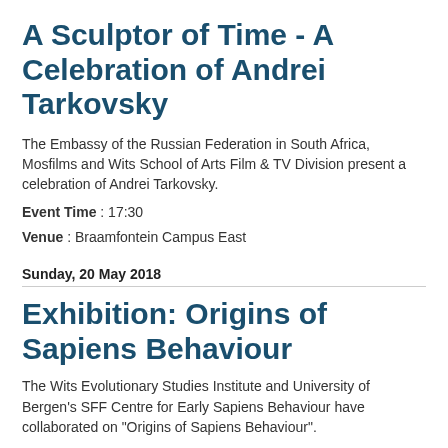A Sculptor of Time - A Celebration of Andrei Tarkovsky
The Embassy of the Russian Federation in South Africa, Mosfilms and Wits School of Arts Film & TV Division present a celebration of Andrei Tarkovsky.
Event Time : 17:30
Venue : Braamfontein Campus East
Sunday, 20 May 2018
Exhibition: Origins of Sapiens Behaviour
The Wits Evolutionary Studies Institute and University of Bergen's SFF Centre for Early Sapiens Behaviour have collaborated on "Origins of Sapiens Behaviour".